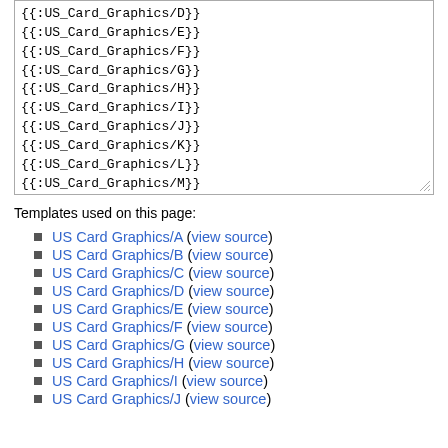{{:US_Card_Graphics/D}}
{{:US_Card_Graphics/E}}
{{:US_Card_Graphics/F}}
{{:US_Card_Graphics/G}}
{{:US_Card_Graphics/H}}
{{:US_Card_Graphics/I}}
{{:US_Card_Graphics/J}}
{{:US_Card_Graphics/K}}
{{:US_Card_Graphics/L}}
{{:US_Card_Graphics/M}}
{{:US_Card_Graphics/N}}
{{:US_Card_Graphics/O}}
{{:US_Card_Graphics/P}}
Templates used on this page:
US Card Graphics/A (view source)
US Card Graphics/B (view source)
US Card Graphics/C (view source)
US Card Graphics/D (view source)
US Card Graphics/E (view source)
US Card Graphics/F (view source)
US Card Graphics/G (view source)
US Card Graphics/H (view source)
US Card Graphics/I (view source)
US Card Graphics/J (view source)